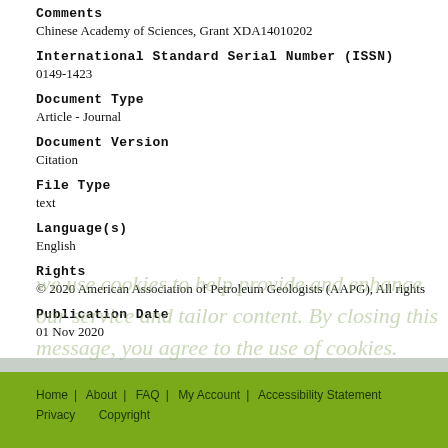Comments
Chinese Academy of Sciences, Grant XDA14010202
International Standard Serial Number (ISSN)
0149-1423
Document Type
Article - Journal
Document Version
Citation
File Type
text
Language(s)
English
Rights
© 2020 American Association of Petroleum Geologists (AAPG), All rights
Publication Date
01 Nov 2020
Home | About | FAQ | My Account | Accessibility Statement Privacy Copyright